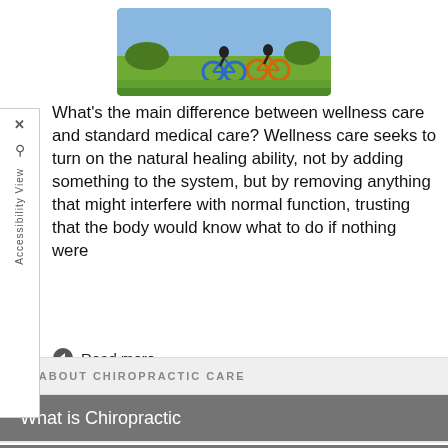[Figure (photo): Photo of cyclists (people with bicycles) in a grassy field, viewed from behind]
What's the main difference between wellness care and standard medical care? Wellness care seeks to turn on the natural healing ability, not by adding something to the system, but by removing anything that might interfere with normal function, trusting that the body would know what to do if nothing were
Read more
ABOUT CHIROPRACTIC CARE
What is Chiropractic
How Does it Work